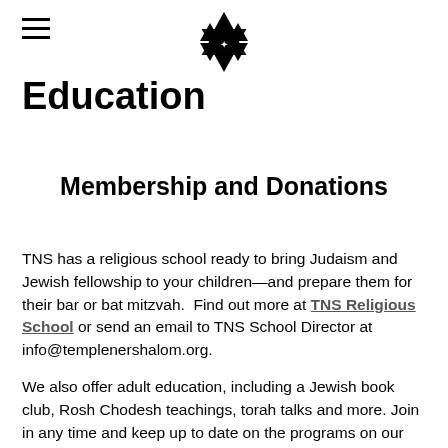[hamburger menu icon] [TNS logo - Star of David]
Education
Membership and Donations
TNS has a religious school ready to bring Judaism and Jewish fellowship to your children—and prepare them for their bar or bat mitzvah.  Find out more at TNS Religious School or send an email to TNS School Director at info@templenershalom.org.
We also offer adult education, including a Jewish book club, Rosh Chodesh teachings, torah talks and more. Join in any time and keep up to date on the programs on our TNS Calendar.